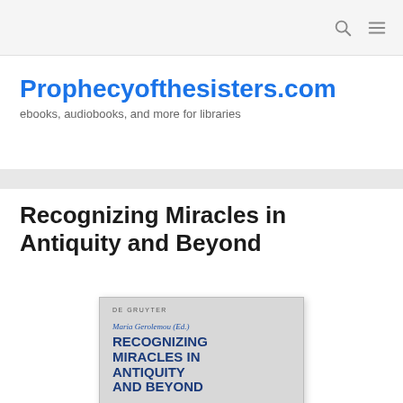Prophecyofthesisters.com — navigation bar with search and menu icons
Prophecyofthesisters.com
ebooks, audiobooks, and more for libraries
Recognizing Miracles in Antiquity and Beyond
[Figure (photo): Book cover of 'Recognizing Miracles in Antiquity and Beyond', edited by Maria Gerolemou, published by De Gruyter. Gray cover with blue bold title text.]